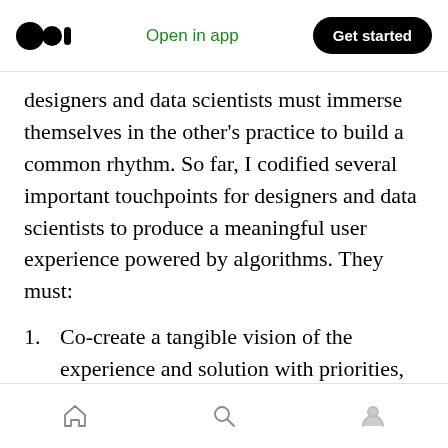Open in app  Get started
designers and data scientists must immerse themselves in the other's practice to build a common rhythm. So far, I codified several important touchpoints for designers and data scientists to produce a meaningful user experience powered by algorithms. They must:
Co-create a tangible vision of the experience and solution with priorities, goals and scope
Assess any assumption with insights from quantitative exploration, desk research and field research.
Home  Search  Profile